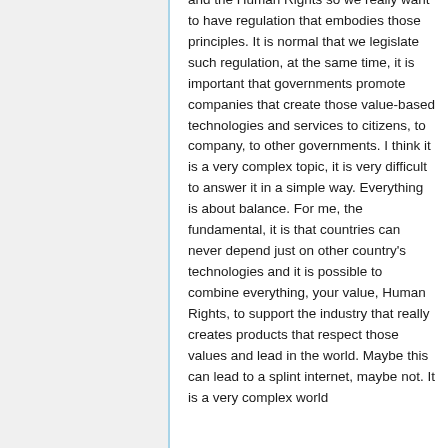and the Human Rights so we really want to have regulation that embodies those principles. It is normal that we legislate such regulation, at the same time, it is important that governments promote companies that create those value-based technologies and services to citizens, to company, to other governments. I think it is a very complex topic, it is very difficult to answer it in a simple way. Everything is about balance. For me, the fundamental, it is that countries can never depend just on other country's technologies and it is possible to combine everything, your value, Human Rights, to support the industry that really creates products that respect those values and lead in the world. Maybe this can lead to a splint internet, maybe not. It is a very complex world